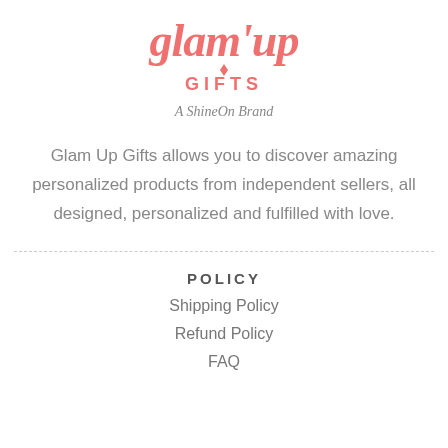[Figure (logo): Glam Up Gifts logo — coral/pink script text 'glam up' with a diamond sparkle icon, and 'GIFTS' in block letters below]
A ShineOn Brand
Glam Up Gifts allows you to discover amazing personalized products from independent sellers, all designed, personalized and fulfilled with love.
POLICY
Shipping Policy
Refund Policy
FAQ